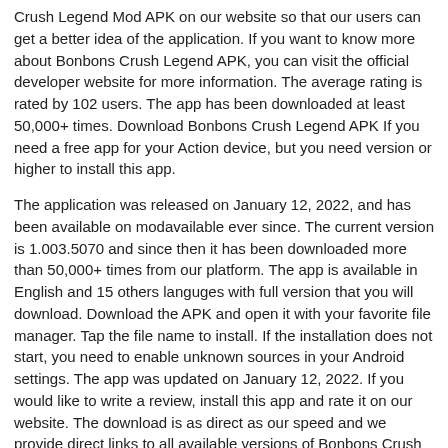Crush Legend Mod APK on our website so that our users can get a better idea of the application. If you want to know more about Bonbons Crush Legend APK, you can visit the official developer website for more information. The average rating is rated by 102 users. The app has been downloaded at least 50,000+ times. Download Bonbons Crush Legend APK If you need a free app for your Action device, but you need version or higher to install this app.
The application was released on January 12, 2022, and has been available on modavailable ever since. The current version is 1.003.5070 and since then it has been downloaded more than 50,000+ times from our platform. The app is available in English and 15 others languges with full version that you will download. Download the APK and open it with your favorite file manager. Tap the file name to install. If the installation does not start, you need to enable unknown sources in your Android settings. The app was updated on January 12, 2022. If you would like to write a review, install this app and rate it on our website. The download is as direct as our speed and we provide direct links to all available versions of Bonbons Crush Legend APK for free. Please note that we provide both basic and pure APK files and faster download speeds for Bonbons Crush Legend APK. You can also download Bonbons Crush Legend APK and run it with the popular Android Emulators.